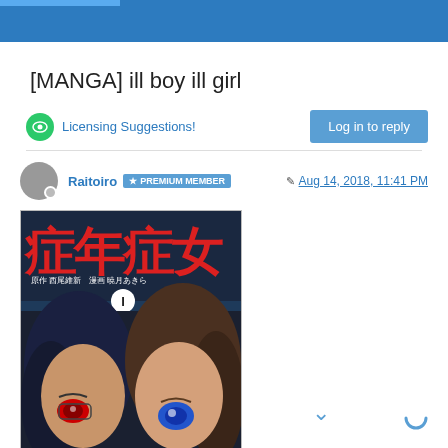[MANGA] ill boy ill girl
Licensing Suggestions!
Log in to reply
Raitoiro  PREMIUM MEMBER
Aug 14, 2018, 11:41 PM
[Figure (illustration): Manga volume cover for 'ill boy ill girl' (症年症女), showing two anime characters — a dark-haired boy on the left with red eyes and a brown-haired girl on the right with blue eyes — with large Japanese kanji title text and author credits (西尾維新 / 暁月あきら), volume 1.]